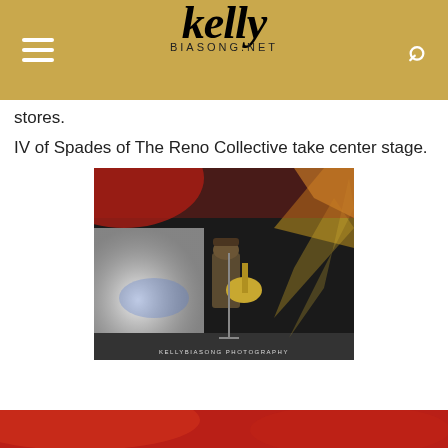kelly BIASONG.NET
stores.
IV of Spades of The Reno Collective take center stage.
[Figure (photo): A guitarist in a hat and suit stands at a microphone on stage, holding a Stratocaster guitar, with dramatic red and golden stage lighting and a large screen behind showing black and white clouds. Photo credit: KELLYBIASONG PHOTOGRAPHY]
[Figure (photo): Bottom portion of another concert photo with red stage lighting, partially visible.]